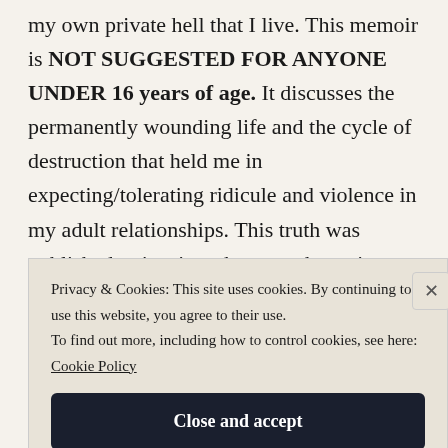my own private hell that I live. This memoir is NOT SUGGESTED FOR ANYONE UNDER 16 years of age. It discusses the permanently wounding life and the cycle of destruction that held me in expecting/tolerating ridicule and violence in my adult relationships. This truth was published to inspire others to take an in-depth look at their life and behaviors as a result of their past. When we connect the dots through rebuilding an
Privacy & Cookies: This site uses cookies. By continuing to use this website, you agree to their use.
To find out more, including how to control cookies, see here: Cookie Policy
Close and accept